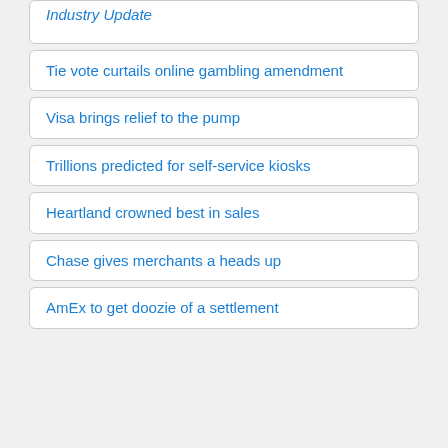Industry Update
Tie vote curtails online gambling amendment
Visa brings relief to the pump
Trillions predicted for self-service kiosks
Heartland crowned best in sales
Chase gives merchants a heads up
AmEx to get doozie of a settlement